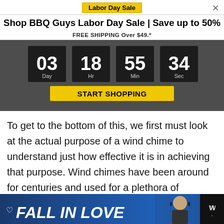Labor Day Sale
Shop BBQ Guys Labor Day Sale | Save up to 50%
FREE SHIPPING Over $49.*
[Figure (infographic): Countdown timer showing 03 Day, 18 Hr, 55 Min, 34 Sec with a START SHOPPING yellow button below]
To get to the bottom of this, we first must look at the actual purpose of a wind chime to understand just how effective it is in achieving that purpose. Wind chimes have been around for centuries and used for a plethora of purposes, including:
[Figure (infographic): Bottom advertisement banner for 'FALL IN LOVE' with a person wearing headphones on a blue background]